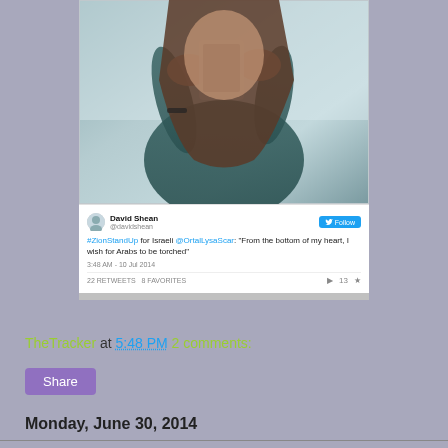[Figure (screenshot): Screenshot of a tweet by David Shean (@davidshean) with a mirror selfie photo above. The tweet reads: '#ZionStandUp for Israeli @OrtalLysaScar: "From the bottom of my heart, I wish for Arabs to be torched"' posted at 3:48 AM - 10 Jul 2014, with 22 retweets and favorites.]
TheTracker at 5:48 PM    2 comments:
Share
Monday, June 30, 2014